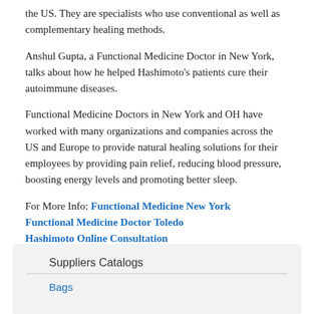the US. They are specialists who use conventional as well as complementary healing methods.
Anshul Gupta, a Functional Medicine Doctor in New York, talks about how he helped Hashimoto's patients cure their autoimmune diseases.
Functional Medicine Doctors in New York and OH have worked with many organizations and companies across the US and Europe to provide natural healing solutions for their employees by providing pain relief, reducing blood pressure, boosting energy levels and promoting better sleep.
For More Info: Functional Medicine New York
Functional Medicine Doctor Toledo
Hashimoto Online Consultation
Dranshulgupta's blog
Suppliers Catalogs
Bags